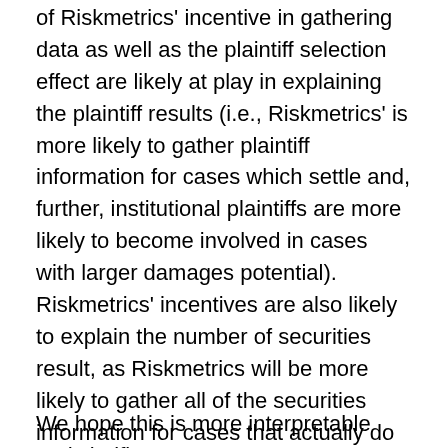of Riskmetrics' incentive in gathering data as well as the plaintiff selection effect are likely at play in explaining the plaintiff results (i.e., Riskmetrics' is more likely to gather plaintiff information for cases which settle and, further, institutional plaintiffs are more likely to become involved in cases with larger damages potential). Riskmetrics' incentives are also likely to explain the number of securities result, as Riskmetrics will be more likely to gather all of the securities information for cases that actually do settle. Finally, the lower probability of settlement of 10b5 cases likely reflects the greater difficulty of proving the knowledge required (scienter) as compared to, for example, Section11 cases.
We hope this is more interpretable and clarifies